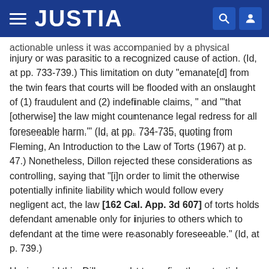JUSTIA
actionable unless it was accompanied by a physical injury or was parasitic to a recognized cause of action. (Id, at pp. 733-739.) This limitation on duty "emanate[d] from the twin fears that courts will be flooded with an onslaught of (1) fraudulent and (2) indefinable claims, " and "'that [otherwise] the law might countenance legal redress for all foreseeable harm.'" (Id, at pp. 734-735, quoting from Fleming, An Introduction to the Law of Torts (1967) at p. 47.) Nonetheless, Dillon rejected these considerations as controlling, saying that "[i]n order to limit the otherwise potentially infinite liability which would follow every negligent act, the law [162 Cal. App. 3d 607] of torts holds defendant amenable only for injuries to others which to defendant at the time were reasonably foreseeable." (Id, at p. 739.)
Having said this, Dillon sought to confine the potential reach of foreseeability by limiting it, first, "'to those risks...